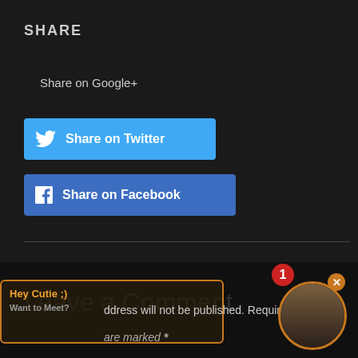SHARE
Share on Google+
[Figure (screenshot): Blue Twitter share button with Twitter bird icon and text 'Share on Twitter']
[Figure (screenshot): Blue Facebook share button with Facebook icon and text 'Share on Facebook']
Leave a Comment
Your email address will not be published. Required fields are marked *
[Figure (screenshot): Notification overlay with orange-bordered box showing 'Hey Cutie ;) Want to Meet?', red badge with number 1, avatar circle with body image, and orange close button]